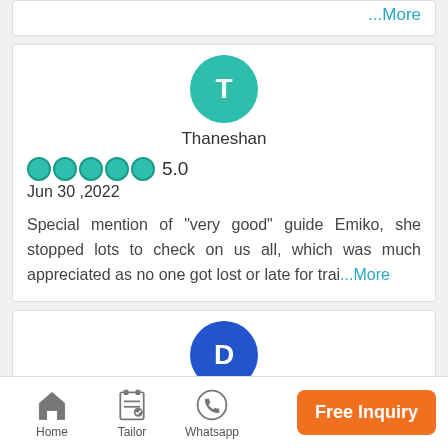...More
[Figure (illustration): Teal circular avatar with letter T for reviewer Thaneshan]
Thaneshan
5.0
Jun 30 ,2022
Special mention of "very good" guide Emiko, she stopped lots to check on us all, which was much appreciated as no one got lost or late for trai...More
[Figure (illustration): Blue circular avatar with letter D for reviewer David Jaeger]
David Jaeger
5.0
Home  Tailor  Whatsapp  Free Inquiry